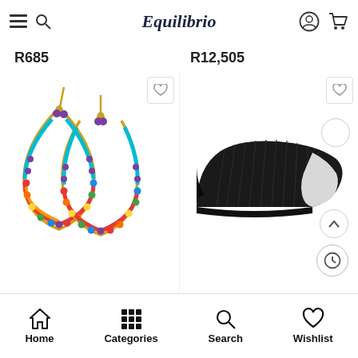Equilibrio
R685
R12,505
[Figure (photo): Colorful beaded teardrop earrings with gold chain and multicolor beads in rainbow pattern]
[Figure (photo): Black textured loafer/flat shoe with white toe cap]
Home | Categories | Search | Wishlist